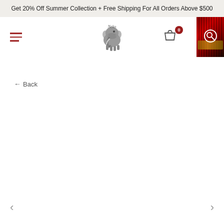Get 20% Off Summer Collection + Free Shipping For All Orders Above $500
[Figure (logo): Neko brand logo with elephant silhouette]
[Figure (screenshot): Product thumbnail image showing red and black patterned textile with search icon overlay]
← Back